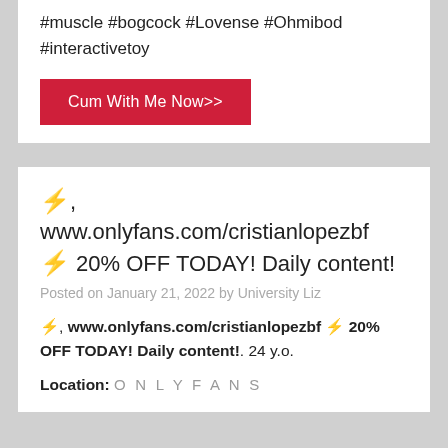#muscle #bogcock #Lovense #Ohmibod #interactivetoy
Cum With Me Now>>
⚡, www.onlyfans.com/cristianlopezbf ⚡ 20% OFF TODAY! Daily content!
Posted on January 21, 2022 by University Liz
⚡, www.onlyfans.com/cristianlopezbf ⚡ 20% OFF TODAY! Daily content!. 24 y.o.
Location: ONLYFANS